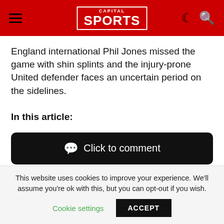CAPITAL SPORTS
England international Phil Jones missed the game with shin splints and the injury-prone United defender faces an uncertain period on the sidelines.
In this article:
Click to comment
This website uses cookies to improve your experience. We'll assume you're ok with this, but you can opt-out if you wish.
Cookie settings   ACCEPT